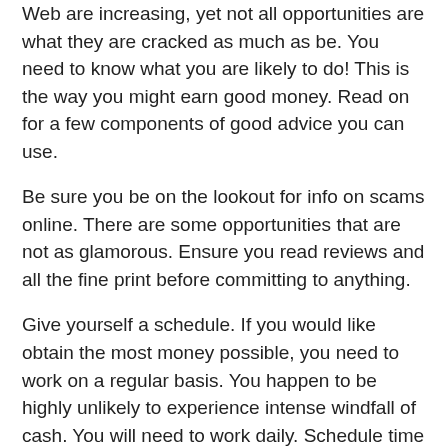Web are increasing, yet not all opportunities are what they are cracked as much as be. You need to know what you are likely to do! This is the way you might earn good money. Read on for a few components of good advice you can use.
Be sure you be on the lookout for info on scams online. There are some opportunities that are not as glamorous. Ensure you read reviews and all the fine print before committing to anything.
Give yourself a schedule. If you would like obtain the most money possible, you need to work on a regular basis. You happen to be highly unlikely to experience intense windfall of cash. You will need to work daily. Schedule time daily to operate online. Just an hour daily could add up as time passes.
Try filling out surveys. The Web is loaded with surveys. The truth is, these are a great choice for making money online. The surveys may not pay greatly, dependant upon exactly where you are taking them. But, they could be carried out spare moments along with the proceeds add up fast.
Use your spare moments wisely. There are numerous things you should do to make money which can be very easy. Utilizing a website like Mechanical Turk for small tasks are perfect for this. Execute a few tasks while you're watching tv. When you are unlikely to produce wads of cash, this activity will not take long and the earnings will quickly add up.